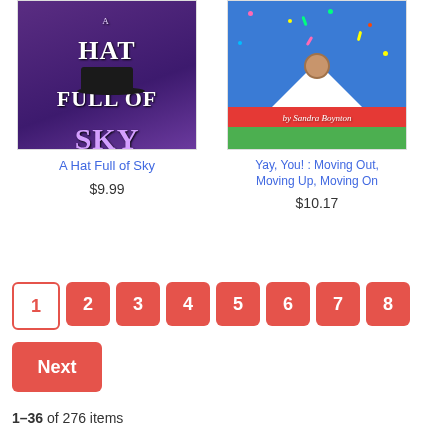[Figure (photo): Book cover: A Hat Full of Sky - purple cover with a witch hat and stars]
A Hat Full of Sky
$9.99
[Figure (photo): Book cover: Yay, You! Moving Out, Moving Up, Moving On by Sandra Boynton - blue background with hamster on snow mountain, colorful confetti]
Yay, You! : Moving Out, Moving Up, Moving On
$10.17
1
2
3
4
5
6
7
8
Next
1–36 of 276 items